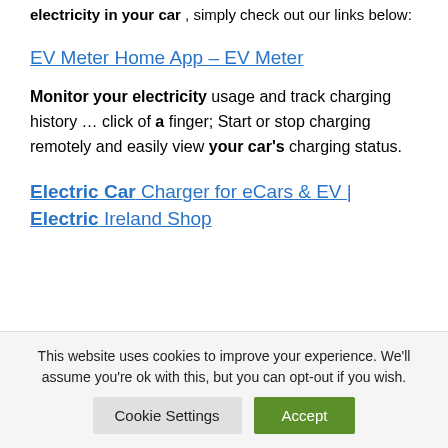electricity in your car, simply check out our links below:
EV Meter Home App – EV Meter
Monitor your electricity usage and track charging history … click of a finger; Start or stop charging remotely and easily view your car's charging status.
Electric Car Charger for eCars & EV | Electric Ireland Shop
This website uses cookies to improve your experience. We'll assume you're ok with this, but you can opt-out if you wish.